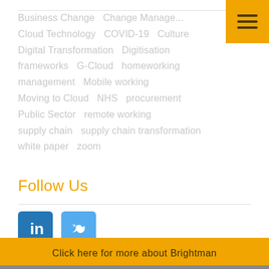[Figure (other): Hamburger menu button with orange background and three horizontal lines]
Business Change   Change Management
Cloud Technology   COVID-19   Culture
Digital Transformation   Digitisation
frameworks   G-Cloud   homeworking
management   Mobile working
Moving to Cloud   NHS   procurement
Public Sector   remote working
supply chain   supply chain transformation
white paper   zoom
Follow Us
[Figure (logo): LinkedIn and Twitter social media icon buttons]
Click here for more about Brightman